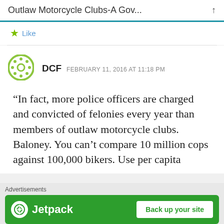Outlaw Motorcycle Clubs-A Gov...
Like
DCF  FEBRUARY 11, 2016 AT 11:18 PM
“In fact, more police officers are charged and convicted of felonies every year than members of outlaw motorcycle clubs. Baloney. You can’t compare 10 million cops against 100,000 bikers. Use per capita
Advertisements
[Figure (screenshot): Jetpack advertisement banner with logo and 'Back up your site' button on green background]